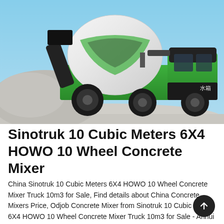[Figure (photo): A green and black Sinotruk self-loading concrete mixer truck with a large white drum, photographed outdoors against a blue sky with white gravel in the background. Chinese characters '水箱' visible on the rear.]
Sinotruk 10 Cubic Meters 6X4 HOWO 10 Wheel Concrete Mixer
China Sinotruk 10 Cubic Meters 6X4 HOWO 10 Wheel Concrete Mixer Truck 10m3 for Sale, Find details about China Concrete Mixers Price, Odjob Concrete Mixer from Sinotruk 10 Cubic Meters 6X4 HOWO 10 Wheel Concrete Mixer Truck 10m3 for Sale - Anhui Heavy and Light